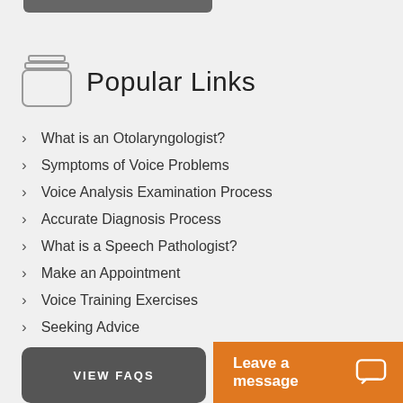Popular Links
What is an Otolaryngologist?
Symptoms of Voice Problems
Voice Analysis Examination Process
Accurate Diagnosis Process
What is a Speech Pathologist?
Make an Appointment
Voice Training Exercises
Seeking Advice
VIEW FAQS
Leave a message